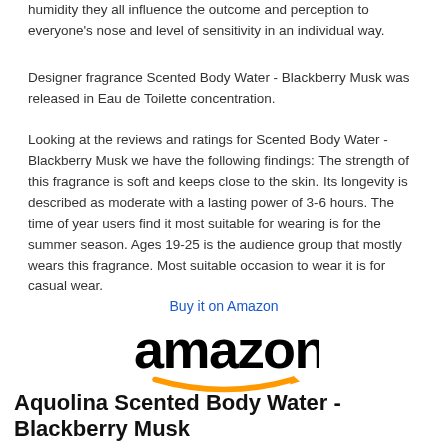humidity they all influence the outcome and perception to everyone's nose and level of sensitivity in an individual way.
Designer fragrance Scented Body Water - Blackberry Musk was released in Eau de Toilette concentration.
Looking at the reviews and ratings for Scented Body Water - Blackberry Musk we have the following findings: The strength of this fragrance is soft and keeps close to the skin. Its longevity is described as moderate with a lasting power of 3-6 hours. The time of year users find it most suitable for wearing is for the summer season. Ages 19-25 is the audience group that mostly wears this fragrance. Most suitable occasion to wear it is for casual wear.
[Figure (logo): Amazon logo with 'Buy it on Amazon' link text above it]
Aquolina Scented Body Water - Blackberry Musk